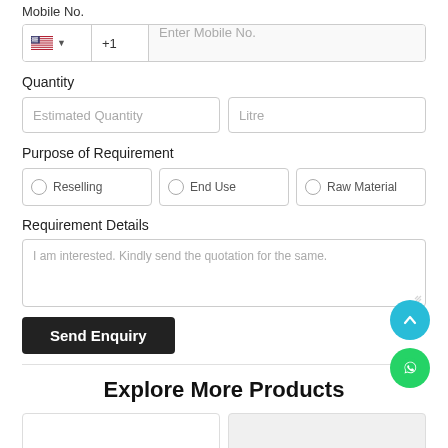Mobile No.
[Figure (screenshot): Mobile number input field with US flag, country code +1, and placeholder text 'Enter Mobile No.']
Quantity
[Figure (screenshot): Quantity input row with 'Estimated Quantity' placeholder and 'Litre' unit field]
Purpose of Requirement
[Figure (screenshot): Radio button options: Reselling, End Use, Raw Material]
Requirement Details
[Figure (screenshot): Textarea with placeholder: I am interested. Kindly send the quotation for the same.]
[Figure (infographic): Send Enquiry button (dark/black background, white text)]
[Figure (infographic): Scroll-to-top FAB (cyan circle with up arrow) and WhatsApp FAB (green circle with WhatsApp icon)]
Explore More Products
[Figure (screenshot): Two product card placeholders side by side at bottom of page]